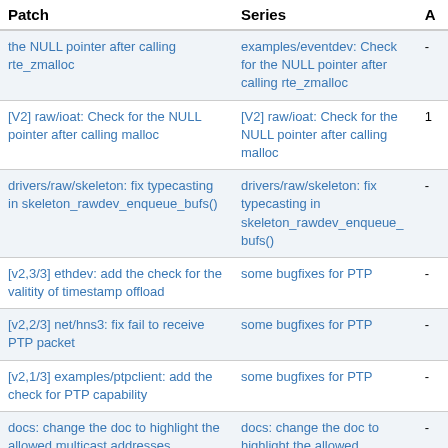| Patch | Series | A |
| --- | --- | --- |
| examples/eventdev: Check for the NULL pointer after calling rte_zmalloc | examples/eventdev: Check for the NULL pointer after calling rte_zmalloc | - |
| [V2] raw/ioat: Check for the NULL pointer after calling malloc | [V2] raw/ioat: Check for the NULL pointer after calling malloc | 1 |
| drivers/raw/skeleton: fix typecasting in skeleton_rawdev_enqueue_bufs() | drivers/raw/skeleton: fix typecasting in skeleton_rawdev_enqueue_bufs() | - |
| [v2,3/3] ethdev: add the check for the valitity of timestamp offload | some bugfixes for PTP | - |
| [v2,2/3] net/hns3: fix fail to receive PTP packet | some bugfixes for PTP | - |
| [v2,1/3] examples/ptpclient: add the check for PTP capability | some bugfixes for PTP | - |
| docs: change the doc to highlight the allowed multicast addresses | docs: change the doc to highlight the allowed multicast addresses | - |
| mbuf: add mbuf physical address field to dynamic field | mbuf: add mbuf physical address field to dynamic field | - |
| [v4] baseband/turbo_sw: remove Flexran SDK meson option | [v4] baseband/turbo_sw: remove Flexran SDK meson option | - |
| [v2] examples/distributor: update | [v2] examples/distributor: update | - |